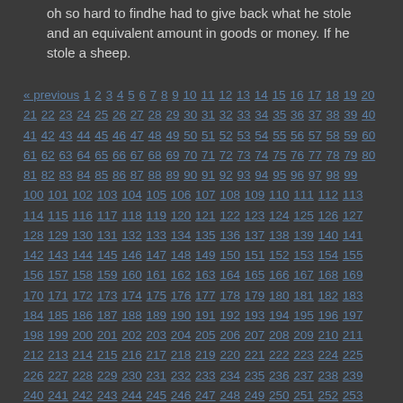oh so hard to findhe had to give back what he stole and an equivalent amount in goods or money. If he stole a sheep.
« previous 1 2 3 4 5 6 7 8 9 10 11 12 13 14 15 16 17 18 19 20 21 22 23 24 25 26 27 28 29 30 31 32 33 34 35 36 37 38 39 40 41 42 43 44 45 46 47 48 49 50 51 52 53 54 55 56 57 58 59 60 61 62 63 64 65 66 67 68 69 70 71 72 73 74 75 76 77 78 79 80 81 82 83 84 85 86 87 88 89 90 91 92 93 94 95 96 97 98 99 100 101 102 103 104 105 106 107 108 109 110 111 112 113 114 115 116 117 118 119 120 121 122 123 124 125 126 127 128 129 130 131 132 133 134 135 136 137 138 139 140 141 142 143 144 145 146 147 148 149 150 151 152 153 154 155 156 157 158 159 160 161 162 163 164 165 166 167 168 169 170 171 172 173 174 175 176 177 178 179 180 181 182 183 184 185 186 187 188 189 190 191 192 193 194 195 196 197 198 199 200 201 202 203 204 205 206 207 208 209 210 211 212 213 214 215 216 217 218 219 220 221 222 223 224 225 226 227 228 229 230 231 232 233 234 235 236 237 238 239 240 241 242 243 244 245 246 247 248 249 250 251 252 253 254 255 256 257 258 259 260 261 262 263 264 265 266 267 268